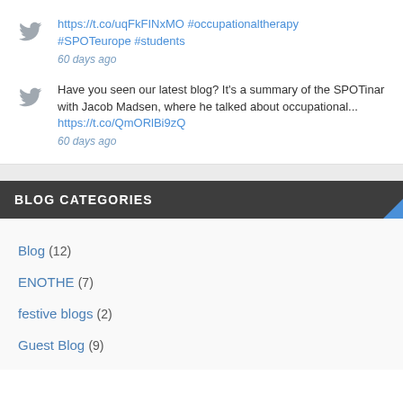https://t.co/uqFkFINxMO #occupationaltherapy #SPOTeurope #students
60 days ago
Have you seen our latest blog? It's a summary of the SPOTinar with Jacob Madsen, where he talked about occupational... https://t.co/QmORlBi9zQ
60 days ago
BLOG CATEGORIES
Blog (12)
ENOTHE (7)
festive blogs (2)
Guest Blog (9)